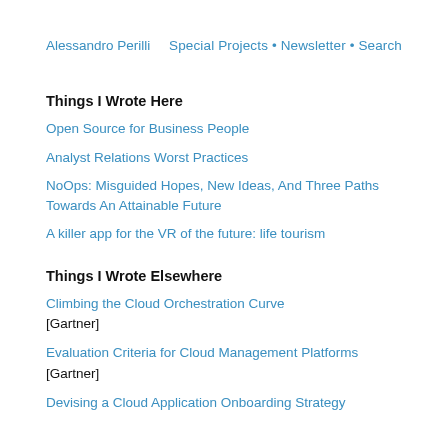Alessandro Perilli   Special Projects • Newsletter • Search
Things I Wrote Here
Open Source for Business People
Analyst Relations Worst Practices
NoOps: Misguided Hopes, New Ideas, And Three Paths Towards An Attainable Future
A killer app for the VR of the future: life tourism
Things I Wrote Elsewhere
Climbing the Cloud Orchestration Curve
[Gartner]
Evaluation Criteria for Cloud Management Platforms
[Gartner]
Devising a Cloud Application Onboarding Strategy